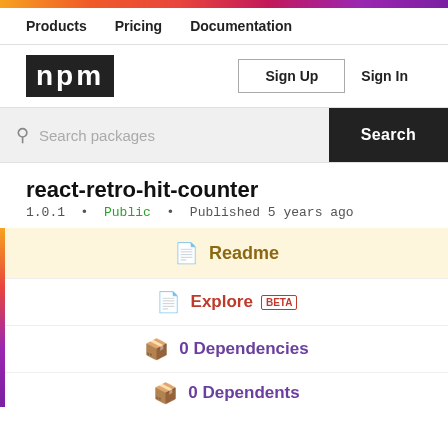npm top gradient bar
Products  Pricing  Documentation
[Figure (logo): npm logo in white text on dark background]
Sign Up  Sign In
Search packages  Search
react-retro-hit-counter
1.0.1 • Public • Published 5 years ago
Readme
Explore BETA
0 Dependencies
0 Dependents